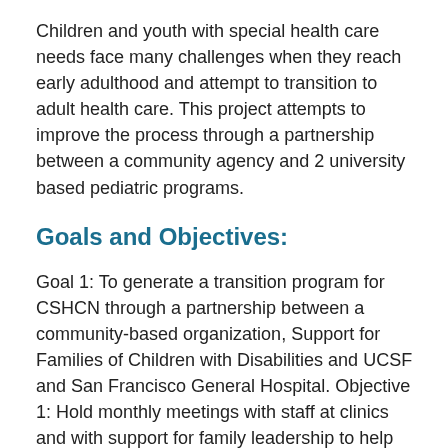Children and youth with special health care needs face many challenges when they reach early adulthood and attempt to transition to adult health care. This project attempts to improve the process through a partnership between a community agency and 2 university based pediatric programs.
Goals and Objectives:
Goal 1: To generate a transition program for CSHCN through a partnership between a community-based organization, Support for Families of Children with Disabilities and UCSF and San Francisco General Hospital. Objective 1: Hold monthly meetings with staff at clinics and with support for family leadership to help initiate and implement program (start of program onward through year 5) Objective 2: Organize advisory